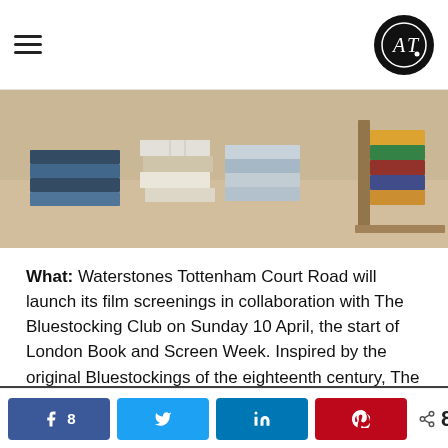AT logo and hamburger menu
[Figure (photo): Books stacked on a table in a bookshop, including colourful hardbacks and paperbacks. Wooden furniture visible in background.]
What: Waterstones Tottenham Court Road will launch its film screenings in collaboration with The Bluestocking Club on Sunday 10 April, the start of London Book and Screen Week. Inspired by the original Bluestockings of the eighteenth century, The Bluestocking Club merges book and film club with a programme of thought-provoking literary adaptations from period drama to film noir to sci-fi.
[Figure (photo): Interior of a venue with exposed ceiling pipes/ducts and string lights, partially visible.]
8 SHARES (social share bar: Facebook 8, Twitter, LinkedIn, Pinterest)